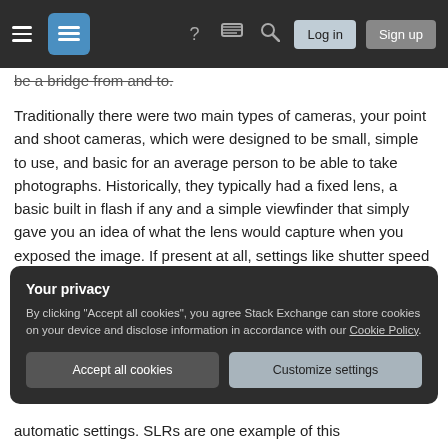Stack Exchange navigation bar with hamburger menu, logo, help, chat, search, Log in, Sign up
be a bridge from and to.
Traditionally there were two main types of cameras, your point and shoot cameras, which were designed to be small, simple to use, and basic for an average person to be able to take photographs. Historically, they typically had a fixed lens, a basic built in flash if any and a simple viewfinder that simply gave you an idea of what the lens would capture when you exposed the image. If present at all, settings like shutter speed were minimal.
Your privacy
By clicking "Accept all cookies", you agree Stack Exchange can store cookies on your device and disclose information in accordance with our Cookie Policy.
Accept all cookies
Customize settings
automatic settings. SLRs are one example of this